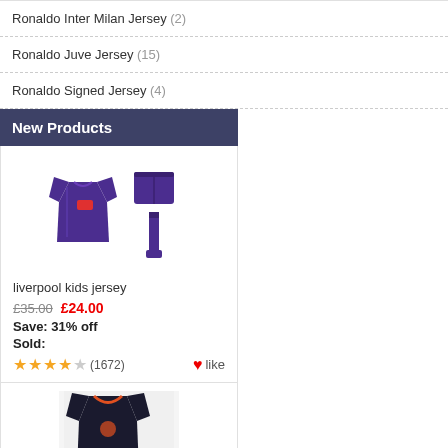Ronaldo Inter Milan Jersey (2)
Ronaldo Juve Jersey (15)
Ronaldo Signed Jersey (4)
New Products
[Figure (photo): Purple Liverpool kids jersey kit including shirt, shorts, and socks]
liverpool kids jersey
£35.00  £24.00
Save: 31% off
Sold:
★★★★☆ (1672)  ♥like
[Figure (photo): Dark jersey product image partially visible at bottom]